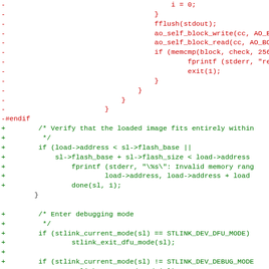[Figure (screenshot): Code diff view showing removed lines in red and added lines in green, depicting a C code patch with flash memory verification and STLink debugging mode setup]